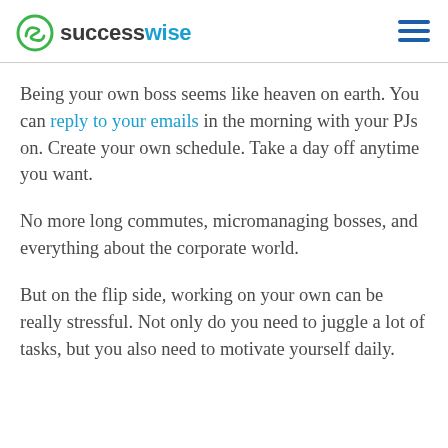successwise
Being your own boss seems like heaven on earth. You can reply to your emails in the morning with your PJs on. Create your own schedule. Take a day off anytime you want.
No more long commutes, micromanaging bosses, and everything about the corporate world.
But on the flip side, working on your own can be really stressful. Not only do you need to juggle a lot of tasks, but you also need to motivate yourself daily.